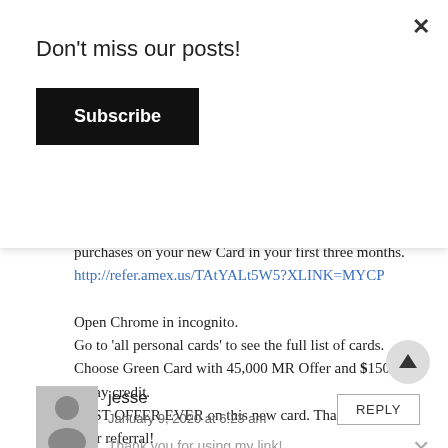Don't miss our posts!
Subscribe
purchases on your new Card in your first three months.
http://refer.amex.us/TAtYALt5W5?XLINK=MYCP

Open Chrome in incognito.
Go to 'all personal cards' to see the full list of cards.
Choose Green Card with 45,000 MR Offer and $150 Away credit.
BEST OFFER EVER on this new card. Thank you for your referral!
jesse
January 9, 2020 at 6:23 am
Thank you for using my link!